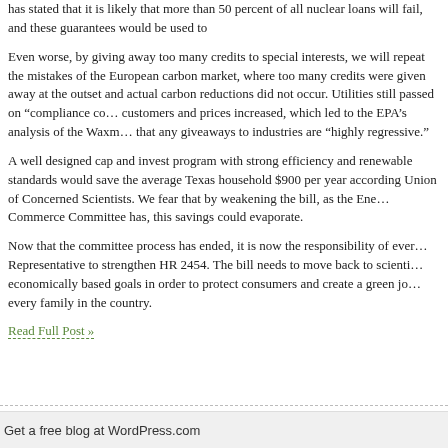has stated that it is likely that more than 50 percent of all nuclear loans will fail, and these guarantees would be used to
Even worse, by giving away too many credits to special interests, we will repeat the mistakes of the European carbon market, where too many credits were given away at the outset and actual carbon reductions did not occur. Utilities still passed on "compliance costs" to their customers and prices increased, which led to the EPA's analysis of the Waxman-Markey bill that any giveaways to industries are "highly regressive."
A well designed cap and invest program with strong efficiency and renewable energy standards would save the average Texas household $900 per year according to the Union of Concerned Scientists. We fear that by weakening the bill, as the Energy and Commerce Committee has, this savings could evaporate.
Now that the committee process has ended, it is now the responsibility of every Representative to strengthen HR 2454. The bill needs to move back to scientifically and economically based goals in order to protect consumers and create a green jobs economy for every family in the country.
Read Full Post »
Get a free blog at WordPress.com